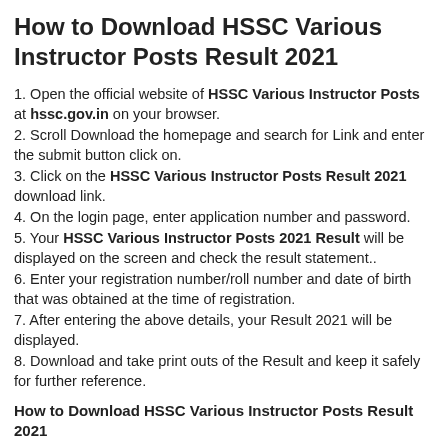How to Download HSSC Various Instructor Posts Result 2021
1. Open the official website of HSSC Various Instructor Posts at hssc.gov.in on your browser.
2. Scroll Download the homepage and search for Link and enter the submit button click on.
3. Click on the HSSC Various Instructor Posts Result 2021 download link.
4. On the login page, enter application number and password.
5. Your HSSC Various Instructor Posts 2021 Result will be displayed on the screen and check the result statement..
6. Enter your registration number/roll number and date of birth that was obtained at the time of registration.
7. After entering the above details, your Result 2021 will be displayed.
8. Download and take print outs of the Result and keep it safely for further reference.
How to Download HSSC Various Instructor Posts Result 2021
Students appeared for the exam can check their result through the link provided in the table. Click the link and follow the steps mentioned below.